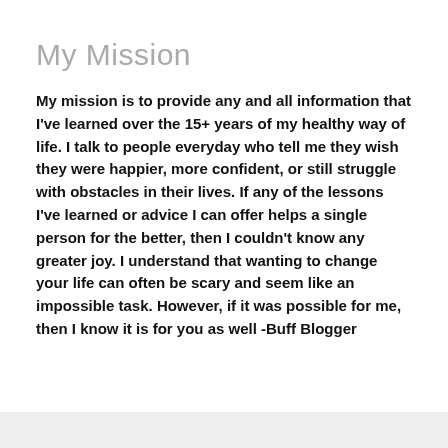My Mission
My mission is to provide any and all information that I've learned over the 15+ years of my healthy way of life. I talk to people everyday who tell me they wish they were happier, more confident, or still struggle with obstacles in their lives. If any of the lessons I've learned or advice I can offer helps a single person for the better, then I couldn't know any greater joy. I understand that wanting to change your life can often be scary and seem like an impossible task. However, if it was possible for me, then I know it is for you as well -Buff Blogger